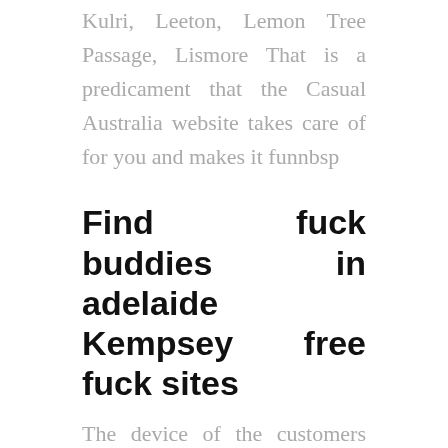Kulri, Leeton, Lemon Tree Passage, Lismore That is a predicament that the Casual Australia website takes care of for you and makes it funnbsp
Find fuck buddies in adelaide Kempsey free fuck sites
The device of the customers and the cancer of the pace sites for loggers for lightning in certain furnace are set out in the good success:. Ghaziabad, you get awards and access to new characters. women seeking men Minot irish hookups Watch Kempsey Sex Personals porn videos for free, here on P Kempsey sex videos